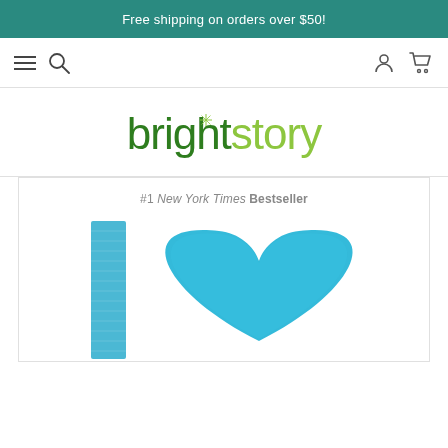Free shipping on orders over $50!
[Figure (logo): brightstory logo in green with sparkle accent]
[Figure (photo): Book cover showing #1 New York Times Bestseller label with a blue painted heart and blue book spine]